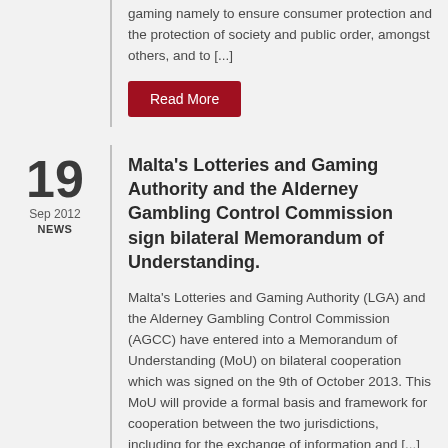gaming namely to ensure consumer protection and the protection of society and public order, amongst others, and to [...]
Read More
19
Sep 2012
NEWS
Malta's Lotteries and Gaming Authority and the Alderney Gambling Control Commission sign bilateral Memorandum of Understanding.
Malta's Lotteries and Gaming Authority (LGA) and the Alderney Gambling Control Commission (AGCC) have entered into a Memorandum of Understanding (MoU) on bilateral cooperation which was signed on the 9th of October 2013. This MoU will provide a formal basis and framework for cooperation between the two jurisdictions, including for the exchange of information and [...]
Read More